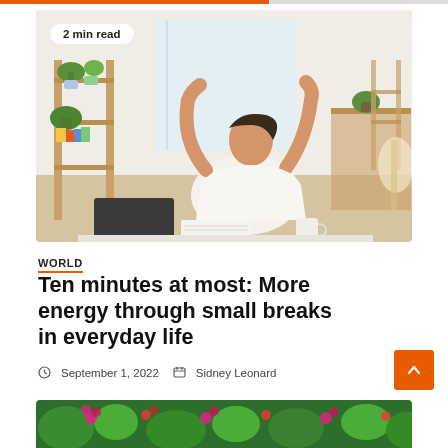[Figure (photo): Woman stretching arms above head at a desk in a bright room with wooden shelving, plants, and a laptop. Badge reads '2 min read'.]
WORLD
Ten minutes at most: More energy through small breaks in everyday life
September 1, 2022  Sidney Leonard
[Figure (photo): Bottom strip showing colorful flowers and green plants.]